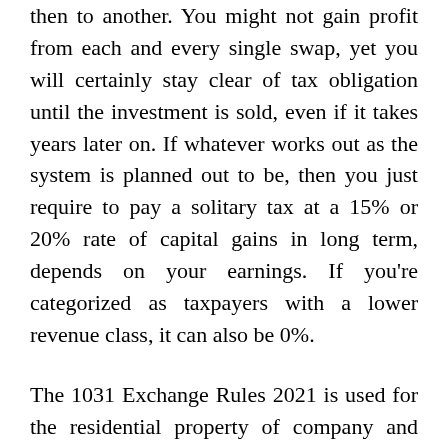then to another. You might not gain profit from each and every single swap, yet you will certainly stay clear of tax obligation until the investment is sold, even if it takes years later on. If whatever works out as the system is planned out to be, then you just require to pay a solitary tax at a 15% or 20% rate of capital gains in long term, depends on your earnings. If you're categorized as taxpayers with a lower revenue class, it can also be 0%.
The 1031 Exchange Rules 2021 is used for the residential property of company and investment only. Nonetheless, it could be able to apply to the primary house residential or commercial property under some problems. It is likewise really feasible to apply 1031 for vacation properties, but the